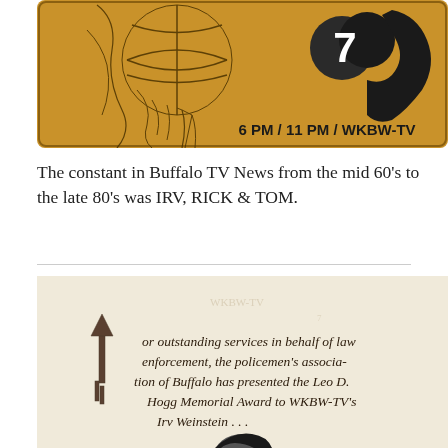[Figure (illustration): Golden/yellow-toned TV news graphic showing a stylized line-art figure of a man with a globe and the number 7 logo on the right side. Text reads: 6 PM / 11 PM / WKBW-TV]
The constant in Buffalo TV News from the mid 60's to the late 80's was IRV, RICK & TOM.
[Figure (photo): Aged/yellowed document or newspaper clipping with a decorative drop capital letter F and italic text reading: 'For outstanding services in behalf of law enforcement, the policemen's association of Buffalo has presented the Leo D. Hogg Memorial Award to WKBW-TV's Irv Weinstein ...' A partial photo of a person's head is visible at the bottom.]